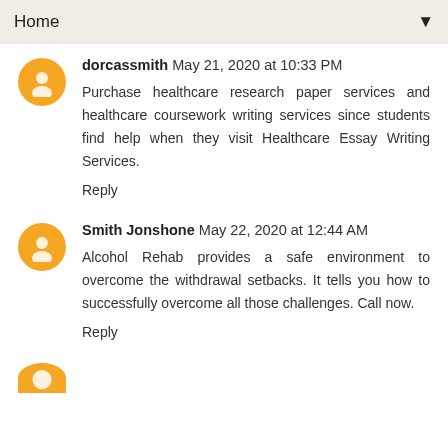Home
dorcassmith May 21, 2020 at 10:33 PM
Purchase healthcare research paper services and healthcare coursework writing services since students find help when they visit Healthcare Essay Writing Services.
Reply
Smith Jonshone May 22, 2020 at 12:44 AM
Alcohol Rehab provides a safe environment to overcome the withdrawal setbacks. It tells you how to successfully overcome all those challenges. Call now.
Reply